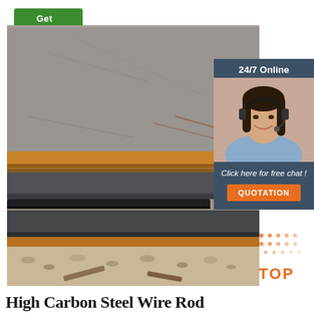[Figure (other): Green 'Get Price' button at top left]
[Figure (photo): Photo of stacked high carbon steel plates/sheets outdoors on gravel ground]
[Figure (infographic): Dark blue sidebar panel showing '24/7 Online' text, a customer service agent with headset, 'Click here for free chat!' text, and an orange QUOTATION button]
[Figure (logo): Orange and dark dots 'TOP' badge watermark in the lower right area of the photo]
High Carbon Steel Wire Rod